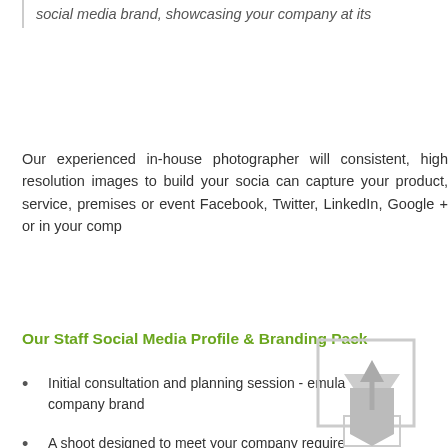social media brand, showcasing your company at its
Our experienced in-house photographer will consistent, high resolution images to build your social can capture your product, service, premises or event Facebook, Twitter, LinkedIn, Google + or in your compa
Our Staff Social Media Profile & Branding Pack
Initial consultation and planning session - emula company brand
A shoot designed to meet your company require
Choice of 3 photo shoots - profile head shots, pr